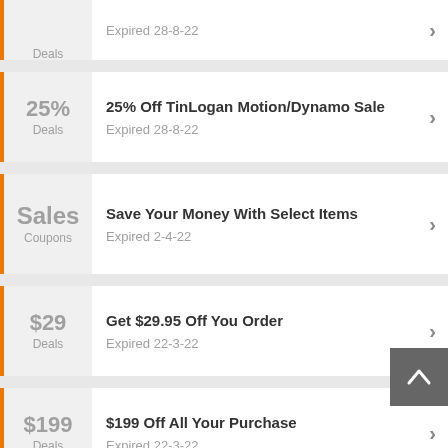Deals | Expired 28-8-22
25% Off TinLogan Motion/Dynamo Sale | Deals | Expired 28-8-22
Save Your Money With Select Items | Sales Coupons | Expired 2-4-22
Get $29.95 Off You Order | Deals | Expired 22-3-22
$199 Off All Your Purchase | Deals | Expired 22-3-22